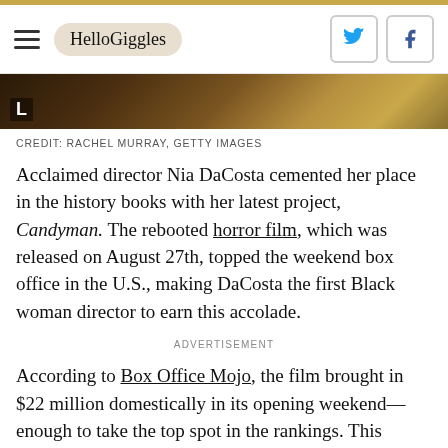HelloGiggles
[Figure (photo): Partial photo with gold and brown tones, showing bottom portion of an image with a white 'L' label overlay in top-left corner]
CREDIT: RACHEL MURRAY, GETTY IMAGES
Acclaimed director Nia DaCosta cemented her place in the history books with her latest project, Candyman. The rebooted horror film, which was released on August 27th, topped the weekend box office in the U.S., making DaCosta the first Black woman director to earn this accolade.
ADVERTISEMENT
According to Box Office Mojo, the film brought in $22 million domestically in its opening weekend—enough to take the top spot in the rankings. This